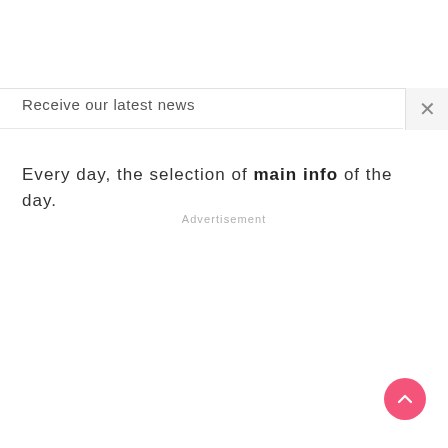Receive our latest news
Every day, the selection of main info of the day.
Advertisement